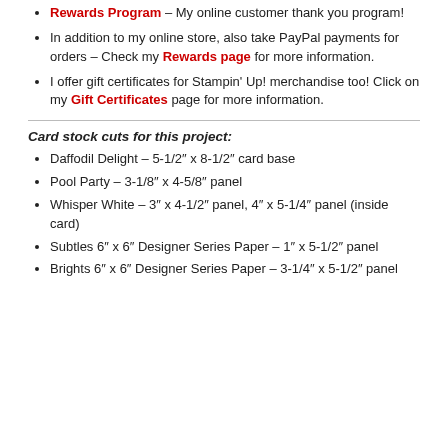Rewards Program – My online customer thank you program!
In addition to my online store, also take PayPal payments for orders – Check my Rewards page for more information.
I offer gift certificates for Stampin' Up! merchandise too! Click on my Gift Certificates page for more information.
Card stock cuts for this project:
Daffodil Delight – 5-1/2″ x 8-1/2″ card base
Pool Party – 3-1/8″ x 4-5/8″ panel
Whisper White – 3″ x 4-1/2″ panel, 4″ x 5-1/4″ panel (inside card)
Subtles 6″ x 6″ Designer Series Paper – 1″ x 5-1/2″ panel
Brights 6″ x 6″ Designer Series Paper – 3-1/4″ x 5-1/2″ panel